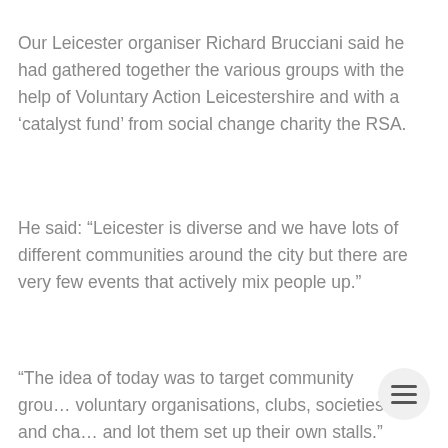Our Leicester organiser Richard Brucciani said he had gathered together the various groups with the help of Voluntary Action Leicestershire and with a ‘catalyst fund’ from social change charity the RSA.
He said: “Leicester is diverse and we have lots of different communities around the city but there are very few events that actively mix people up.”
“The idea of today was to target community grou… voluntary organisations, clubs, societies and cha… and lot them set up their own stalls.”